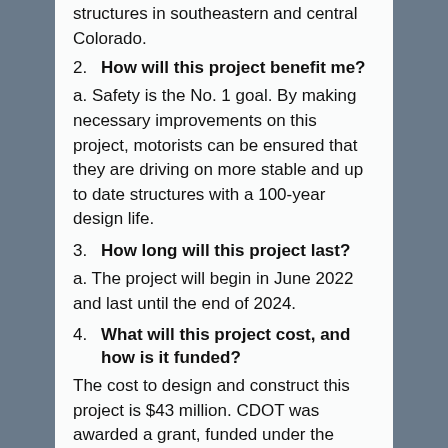structures in southeastern and central Colorado.
2. How will this project benefit me?
a. Safety is the No. 1 goal. By making necessary improvements on this project, motorists can be ensured that they are driving on more stable and up to date structures with a 100-year design life.
3. How long will this project last?
a. The project will begin in June 2022 and last until the end of 2024.
4. What will this project cost, and how is it funded?
The cost to design and construct this project is $43 million. CDOT was awarded a grant, funded under the United States Department of Transportation's (USDOT) Federal Highway Administration (FHWA) Competitive Highway